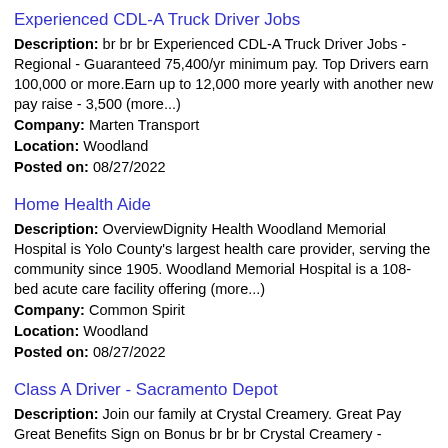Experienced CDL-A Truck Driver Jobs
Description: br br br Experienced CDL-A Truck Driver Jobs - Regional - Guaranteed 75,400/yr minimum pay. Top Drivers earn 100,000 or more.Earn up to 12,000 more yearly with another new pay raise - 3,500 (more...)
Company: Marten Transport
Location: Woodland
Posted on: 08/27/2022
Home Health Aide
Description: OverviewDignity Health Woodland Memorial Hospital is Yolo County's largest health care provider, serving the community since 1905. Woodland Memorial Hospital is a 108-bed acute care facility offering (more...)
Company: Common Spirit
Location: Woodland
Posted on: 08/27/2022
Class A Driver - Sacramento Depot
Description: Join our family at Crystal Creamery. Great Pay Great Benefits Sign on Bonus br br br Crystal Creamery - Sacramento Transportation br Crystal Creamery is currently looking for a Delivery Driver (more...)
Company: CRYSTAL CREAMERY INC